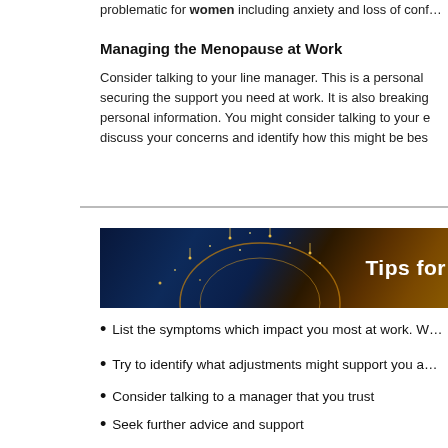problematic for women including anxiety and loss of conf…
Managing the Menopause at Work
Consider talking to your line manager. This is a personal… securing the support you need at work. It is also breaking… personal information. You might consider talking to your e… discuss your concerns and identify how this might be bes…
[Figure (photo): Dark banner image with golden sparkle/firework bokeh lights on a dark blue background with text 'Tips for' in white bold font on the right side.]
List the symptoms which impact you most at work. W…
Try to identify what adjustments might support you a…
Consider talking to a manager that you trust
Seek further advice and support
Try to use any flexible working arrangements to yo…